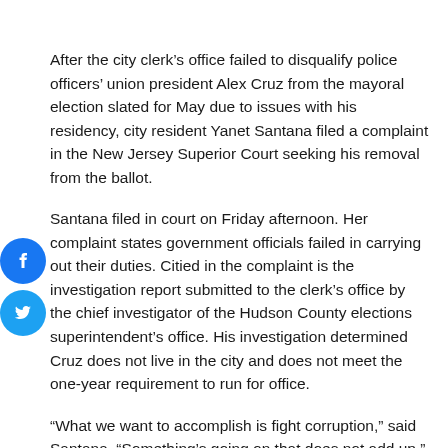After the city clerk's office failed to disqualify police officers' union president Alex Cruz from the mayoral election slated for May due to issues with his residency, city resident Yanet Santana filed a complaint in the New Jersey Superior Court seeking his removal from the ballot.
Santana filed in court on Friday afternoon. Her complaint states government officials failed in carrying out their duties. Citied in the complaint is the investigation report submitted to the clerk's office by the chief investigator of the Hudson County elections superintendent's office. His investigation determined Cruz does not live in the city and does not meet the one-year requirement to run for office.
“What we want to accomplish is fight corruption,” said Santana. “Something’s going on that does not add up.”
City clerk Sonia Gordon reviewed the investigator’s report,